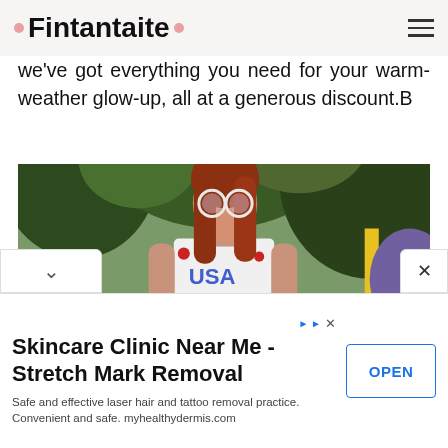Fintantaite
we've got everything you need for your warm-weather glow-up, all at a generous discount.B
[Figure (photo): Young woman with long red hair wearing round sunglasses and a white USA graphic t-shirt tied at the waist with a belt, standing outdoors among trees with a yellow pole visible in the background.]
Skincare Clinic Near Me - Stretch Mark Removal
Safe and effective laser hair and tattoo removal practice. Convenient and safe. myhealthydermis.com